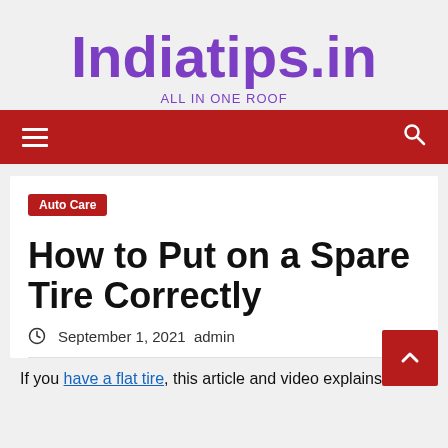Indiatips.in
ALL IN ONE ROOF
Navigation bar with hamburger menu and search icon
Auto Care
How to Put on a Spare Tire Correctly
September 1, 2021  admin
If you have a flat tire, this article and video explains